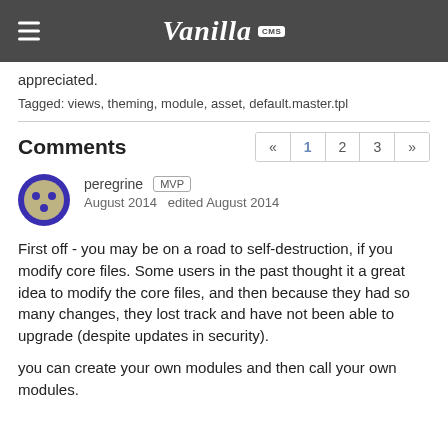Vanilla CMS
appreciated.
Tagged: views, theming, module, asset, default.master.tpl
Comments
peregrine  MVP
August 2014   edited August 2014
First off - you may be on a road to self-destruction, if you modify core files. Some users in the past thought it a great idea to modify the core files, and then because they had so many changes, they lost track and have not been able to upgrade (despite updates in security).
you can create your own modules and then call your own modules.